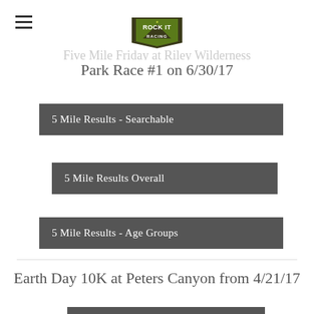[Figure (logo): Rock It Racing logo - green and dark badge with mountain shape]
Five Mile Friday at Riley Wilderness Park Race #1 on 6/30/17
5 Mile Results - Searchable
5 Mile Results Overall
5 Mile Results - Age Groups
Earth Day 10K at Peters Canyon from 4/21/17
(partial button visible at bottom)